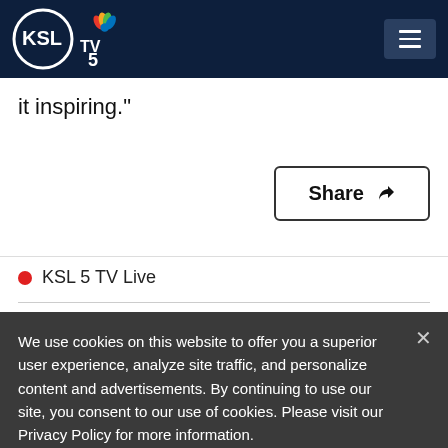[Figure (logo): KSL TV 5 NBC logo with circular KSL mark and NBC peacock icon, on dark navy header bar with hamburger menu button]
it inspiring."
Share ↺
● KSL 5 TV Live
We use cookies on this website to offer you a superior user experience, analyze site traffic, and personalize content and advertisements. By continuing to use our site, you consent to our use of cookies. Please visit our Privacy Policy for more information.
Accept Cookies